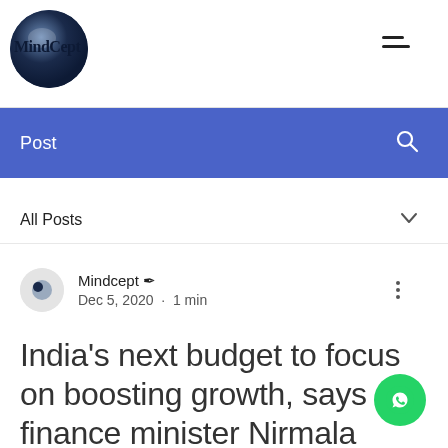MindCept
Post
All Posts
Mindcept  Dec 5, 2020 · 1 min
India's next budget to focus on boosting growth, says finance minister Nirmala Sitharaman